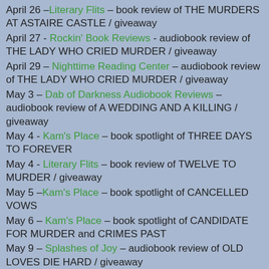April 26 – Literary Flits – book review of THE MURDERS AT ASTAIRE CASTLE / giveaway
April 27 - Rockin' Book Reviews - audiobook review of THE LADY WHO CRIED MURDER / giveaway
April 29 – Nighttime Reading Center – audiobook review of THE LADY WHO CRIED MURDER / giveaway
May 3 – Dab of Darkness Audiobook Reviews – audiobook review of A WEDDING AND A KILLING / giveaway
May 4 - Kam's Place – book spotlight of THREE DAYS TO FOREVER
May 4 - Literary Flits – book review of TWELVE TO MURDER / giveaway
May 5 –Kam's Place – book spotlight of CANCELLED VOWS
May 6 – Kam's Place – book spotlight of CANDIDATE FOR MURDER and CRIMES PAST
May 9 – Splashes of Joy – audiobook review of OLD LOVES DIE HARD / giveaway
May 10 – Celticlady's Reviews – book series spotlight / giveaway
May 11 – Locks, Hooks and Books – book review of THE MURDERS AT ASTAIRE CASTLE / giveaway